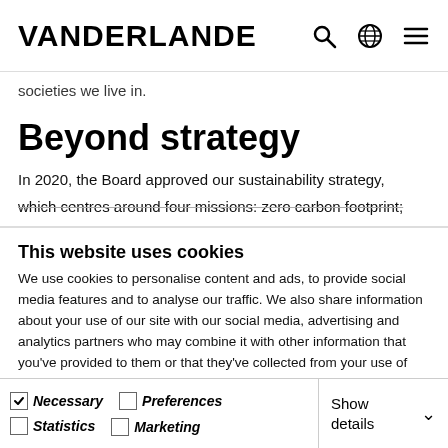VANDERLANDE
societies we live in.
Beyond strategy
In 2020, the Board approved our sustainability strategy, which centres around four missions: zero carbon footprint;
This website uses cookies
We use cookies to personalise content and ads, to provide social media features and to analyse our traffic. We also share information about your use of our site with our social media, advertising and analytics partners who may combine it with other information that you've provided to them or that they've collected from your use of their services.
OK
Necessary  Preferences  Statistics  Marketing  Show details